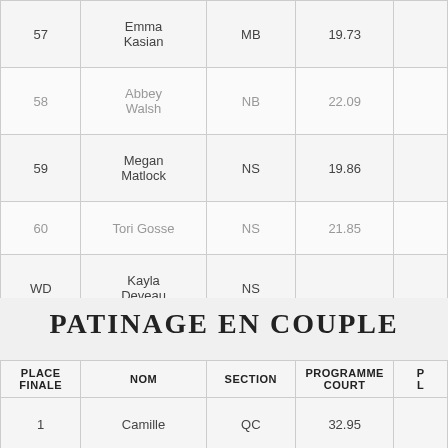| PLACE FINALE | NOM | SECTION | PROGRAMME COURT | P L |
| --- | --- | --- | --- | --- |
| 57 | Emma Kasian | MB | 19.73 |  |
| 58 | Abbey Walsh | NB | 22.09 |  |
| 59 | Megan Matlock | NS | 19.86 |  |
| 60 | Tori Gosse | NS | 21.85 |  |
| WD | Kayla Deveau | NS |  |  |
PATINAGE EN COUPLE
| PLACE FINALE | NOM | SECTION | PROGRAMME COURT | P L |
| --- | --- | --- | --- | --- |
| 1 | Camille | QC | 32.95 |  |